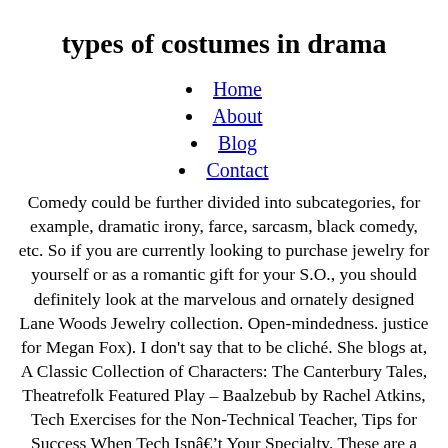types of costumes in drama
Home
About
Blog
Contact
Comedy could be further divided into subcategories, for example, dramatic irony, farce, sarcasm, black comedy, etc. So if you are currently looking to purchase jewelry for yourself or as a romantic gift for your S.O., you should definitely look at the marvelous and ornately designed Lane Woods Jewelry collection. Open-mindedness. justice for Megan Fox). I don't say that to be cliché. She blogs at, A Classic Collection of Characters: The Canterbury Tales, Theatrefolk Featured Play – Baalzebub by Rachel Atkins, Tech Exercises for the Non-Technical Teacher, Tips for Success When Tech Isnât Your Specialty. These are a flexible, heeled dance shoe with a strap (Mary Jane style, t-strap, or cross strap) and they come in black or tan. Its tone is light and it mostly has a happy ending. It can also be worn dressed down with jeans, open over a fun t-shirt, or even as a beach cover-up. Within various theories of social science and visual media, academics present the male gaze as a nebulous idea during their headache-inducing meta-